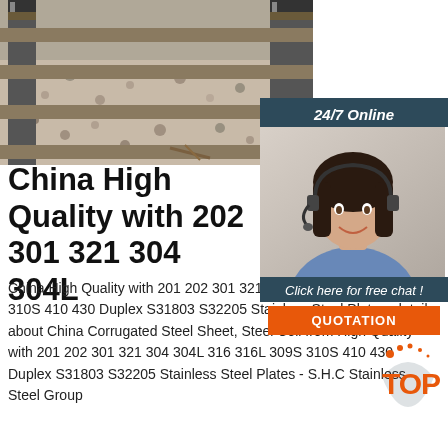[Figure (photo): Close-up photo of railway steel tracks and gravel ballast from above]
[Figure (illustration): 24/7 Online chat widget with photo of woman wearing headset, 'Click here for free chat!' text, and orange QUOTATION button]
China High Quality with 202 301 321 304 304L
China High Quality with 201 202 301 321 304 304L 316 316L 309S 310S 410 430 Duplex S31803 S32205 Stainless Steel Plates, details about China Corrugated Steel Sheet, Steel Coil from High Quality with 201 202 301 321 304 304L 316 316L 309S 310S 410 430 Duplex S31803 S32205 Stainless Steel Plates - S.H.C Stainless Steel Group
[Figure (illustration): TOP icon with orange dots and 'TOP' text in orange]